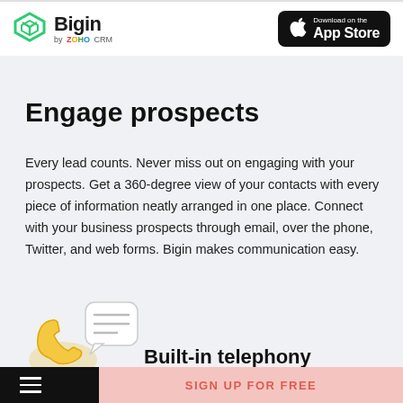Bigin by ZOHO CRM — Download on the App Store
Engage prospects
Every lead counts. Never miss out on engaging with your prospects. Get a 360-degree view of your contacts with every piece of information neatly arranged in one place. Connect with your business prospects through email, over the phone, Twitter, and web forms. Bigin makes communication easy.
[Figure (illustration): Phone and speech bubble illustration icon for Built-in telephony section]
Built-in telephony
SIGN UP FOR FREE